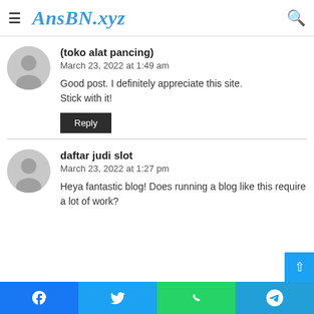AnsBN.xyz
(toko alat pancing)
March 23, 2022 at 1:49 am
Good post. I definitely appreciate this site. Stick with it!
Reply
daftar judi slot
March 23, 2022 at 1:27 pm
Heya fantastic blog! Does running a blog like this require a lot of work?
Facebook | Twitter | WhatsApp | Telegram